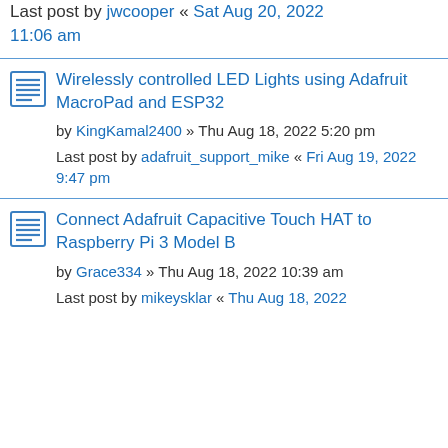by rikIwarren » Fri Aug 19, 2022 7:13 pm
Last post by jwcooper « Sat Aug 20, 2022 11:06 am
Wirelessly controlled LED Lights using Adafruit MacroPad and ESP32
by KingKamal2400 » Thu Aug 18, 2022 5:20 pm
Last post by adafruit_support_mike « Fri Aug 19, 2022 9:47 pm
Connect Adafruit Capacitive Touch HAT to Raspberry Pi 3 Model B
by Grace334 » Thu Aug 18, 2022 10:39 am
Last post by mikeysklar « Thu Aug 18, 2022